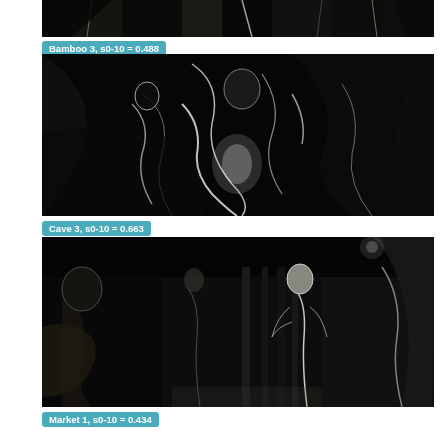[Figure (photo): Grayscale rendered image labeled Bamboo 3 showing dark scene with foliage-like shapes, cropped top portion visible]
Bamboo 3, s0-10 = 0.488
[Figure (photo): Grayscale rendered image labeled Cave 3 showing dark abstract shapes resembling figures or cave forms with bright edge highlights]
Cave 3, s0-10 = 0.663
[Figure (photo): Grayscale rendered image labeled Market 1 showing a scene with humanoid figures in a dark environment with architectural elements]
Market 1, s0-10 = 0.434